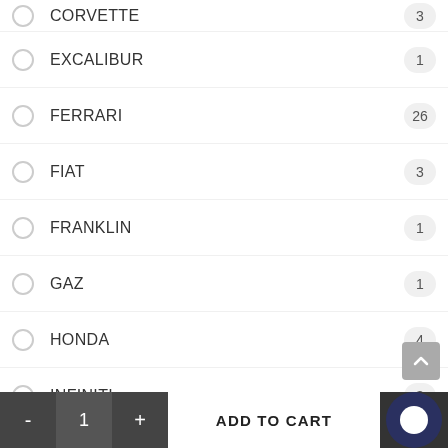CORVETTE 3
EXCALIBUR 1
FERRARI 26
FIAT 3
FRANKLIN 1
GAZ 1
HONDA 4
INFINITI 3
ISO 1
JAGUAR 5
KOENIGSEGG 1
LAMBORGHINI 32
LANCIA 2
LAND ROVER ...